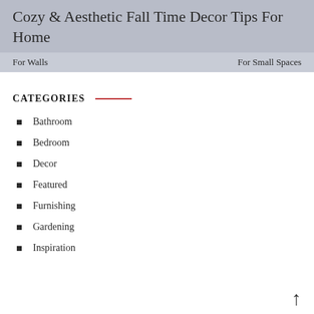Cozy & Aesthetic Fall Time Decor Tips For Home
For Walls   For Small Spaces
CATEGORIES
Bathroom
Bedroom
Decor
Featured
Furnishing
Gardening
Inspiration